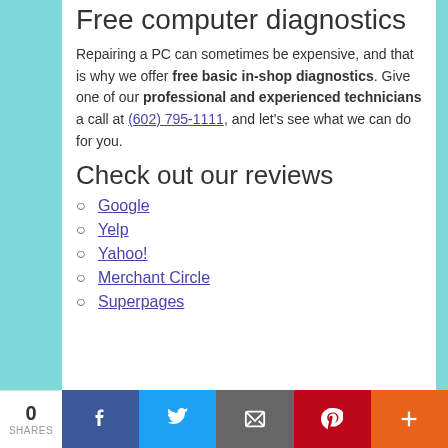Free computer diagnostics
Repairing a PC can sometimes be expensive, and that is why we offer free basic in-shop diagnostics. Give one of our professional and experienced technicians a call at (602) 795-1111, and let's see what we can do for you.
Check out our reviews
Google
Yelp
Yahoo!
Merchant Circle
Superpages
0 SHARES | Facebook | Twitter | Email | Pinterest | More